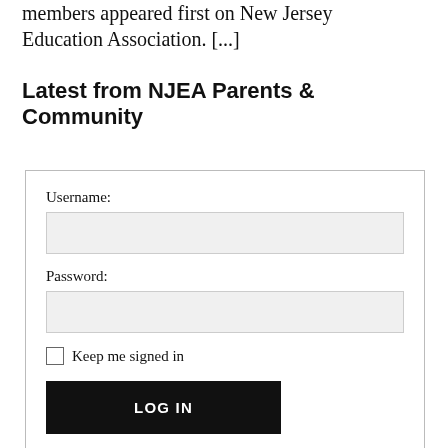members appeared first on New Jersey Education Association. [...]
Latest from NJEA Parents & Community
[Figure (screenshot): Login form with Username and Password fields, Keep me signed in checkbox, and LOG IN button]